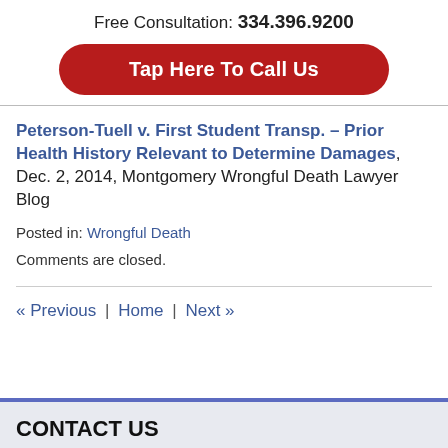Free Consultation: 334.396.9200
Tap Here To Call Us
Peterson-Tuell v. First Student Transp. – Prior Health History Relevant to Determine Damages, Dec. 2, 2014, Montgomery Wrongful Death Lawyer Blog
Posted in: Wrongful Death
Comments are closed.
« Previous | Home | Next »
CONTACT US